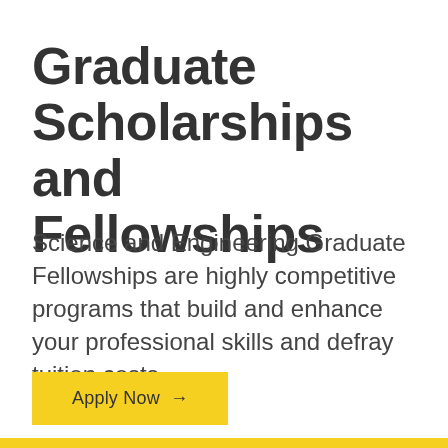Graduate Scholarships and Fellowships
Science and Engineering Graduate Fellowships are highly competitive programs that build and enhance your professional skills and defray tuition costs.
Apply Now →